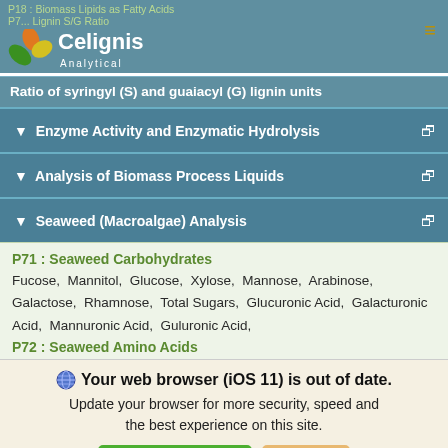P18 : Biomass Lipids as Fatty Acids
P7... Lignin S/G Ratio
[Figure (logo): Celignis Analytical logo with leaf graphic and company name]
Ratio of syringyl (S) and guaiacyl (G) lignin units
Enzyme Activity and Enzymatic Hydrolysis
Analysis of Biomass Process Liquids
Seaweed (Macroalgae) Analysis
P71 : Seaweed Carbohydrates
Fucose,  Mannitol,  Glucose,  Xylose,  Mannose,  Arabinose,  Galactose,  Rhamnose,  Total Sugars,  Glucuronic Acid,  Galacturonic Acid,  Mannuronic Acid,  Guluronic Acid,
P72 : Seaweed Amino Acids
Your web browser (iOS 11) is out of date. Update your browser for more security, speed and the best experience on this site.